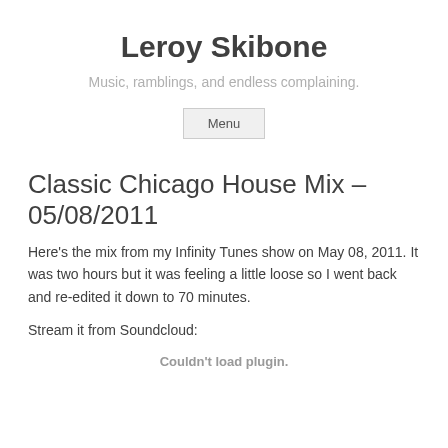Leroy Skibone
Music, ramblings, and endless complaining.
Menu
Classic Chicago House Mix – 05/08/2011
Here's the mix from my Infinity Tunes show on May 08, 2011. It was two hours but it was feeling a little loose so I went back and re-edited it down to 70 minutes.
Stream it from Soundcloud:
Couldn't load plugin.